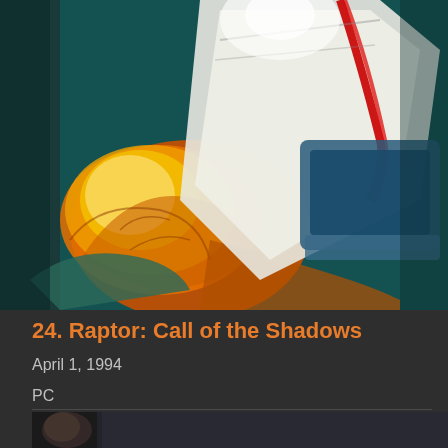[Figure (photo): Game box art for Raptor: Call of the Shadows showing a colorful action illustration with a creature and dramatic imagery on a dark teal background]
24. Raptor: Call of the Shadows
April 1, 1994
PC
[Figure (photo): Partially visible bottom image, another game entry]